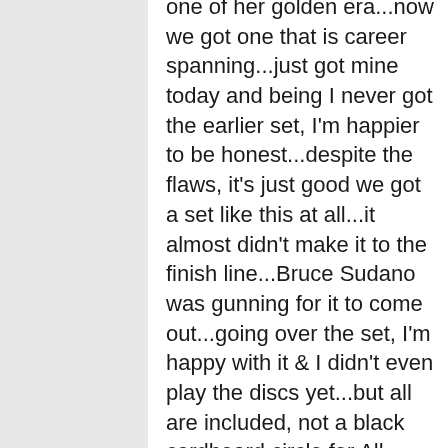one of her golden era...now we got one that is career spanning...just got mine today and being I never got the earlier set, I'm happier to be honest...despite the flaws, it's just good we got a set like this at all...it almost didn't make it to the finish line...Bruce Sudano was gunning for it to come out...going over the set, I'm happy with it & I didn't even play the discs yet...but all are included, not a black cardboard circle for All Systems Go as someone said... the book is a good read...